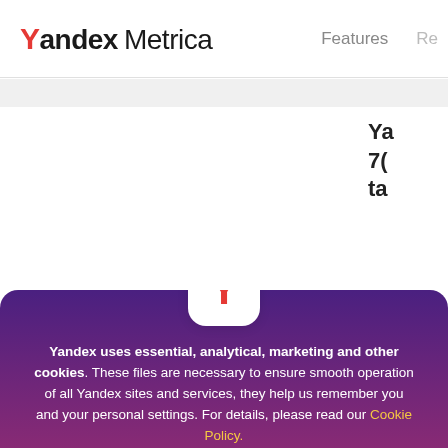[Figure (screenshot): Yandex Metrica website header with logo and navigation links (Features, Re...)]
Yandex uses essential, analytical, marketing and other cookies. These files are necessary to ensure smooth operation of all Yandex sites and services, they help us remember you and your personal settings. For details, please read our Cookie Policy.
View my options
Accept
are hosting our own Yandex.Metrica events